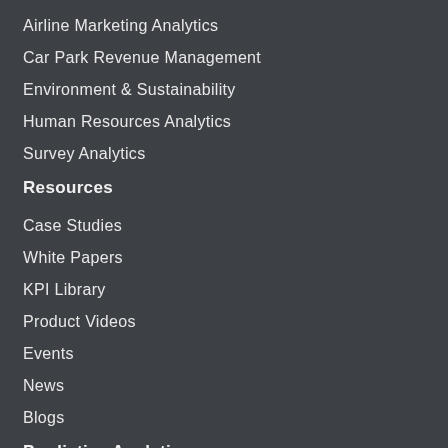Airline Marketing Analytics
Car Park Revenue Management
Environment & Sustainability
Human Resources Analytics
Survey Analytics
Resources
Case Studies
White Papers
KPI Library
Product Videos
Events
News
Blogs
Predictive Analytics
Predictive Analytics